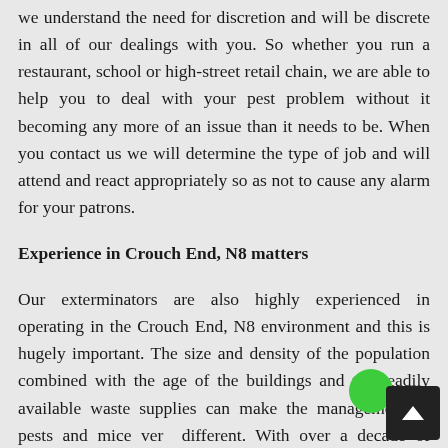we understand the need for discretion and will be discrete in all of our dealings with you. So whether you run a restaurant, school or high-street retail chain, we are able to help you to deal with your pest problem without it becoming any more of an issue than it needs to be. When you contact us we will determine the type of job and will attend and react appropriately so as not to cause any alarm for your patrons.
Experience in Crouch End, N8 matters
Our exterminators are also highly experienced in operating in the Crouch End, N8 environment and this is hugely important. The size and density of the population combined with the age of the buildings and the readily available waste supplies can make the management of pests and mice very different. With over a decade of experience in